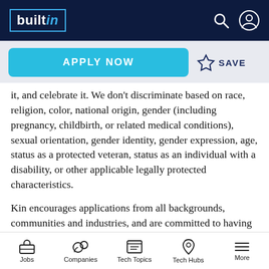builtin
APPLY NOW   ☆ SAVE
it, and celebrate it. We don't discriminate based on race, religion, color, national origin, gender (including pregnancy, childbirth, or related medical conditions), sexual orientation, gender identity, gender expression, age, status as a protected veteran, status as an individual with a disability, or other applicable legally protected characteristics.
Kin encourages applications from all backgrounds, communities and industries, and are committed to having a team that is made up of diverse skills, experiences and abilities.
Jobs   Companies   Tech Topics   Tech Hubs   More